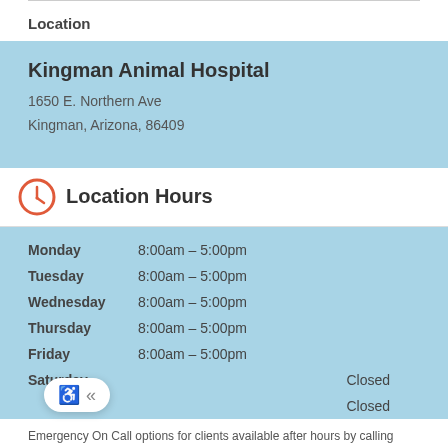Location
Kingman Animal Hospital
1650 E. Northern Ave
Kingman, Arizona, 86409
Location Hours
| Day | Hours |
| --- | --- |
| Monday | 8:00am – 5:00pm |
| Tuesday | 8:00am – 5:00pm |
| Wednesday | 8:00am – 5:00pm |
| Thursday | 8:00am – 5:00pm |
| Friday | 8:00am – 5:00pm |
| Saturday | Closed |
| Sunday | Closed |
Emergency On Call options for clients available after hours by calling 928-716-